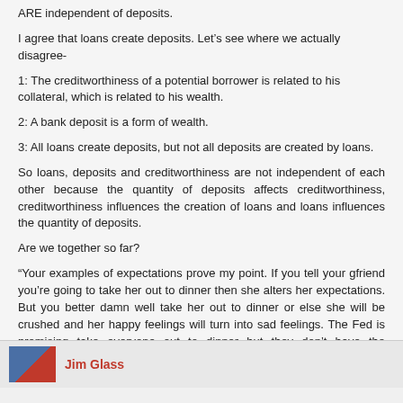ARE independent of deposits.
I agree that loans create deposits. Let's see where we actually disagree-
1: The creditworthiness of a potential borrower is related to his collateral, which is related to his wealth.
2: A bank deposit is a form of wealth.
3: All loans create deposits, but not all deposits are created by loans.
So loans, deposits and creditworthiness are not independent of each other because the quantity of deposits affects creditworthiness, creditworthiness influences the creation of loans and loans influences the quantity of deposits.
Are we together so far?
“Your examples of expectations prove my point. If you tell your gfriend you’re going to take her out to dinner then she alters her expectations. But you better damn well take her out to dinner or else she will be crushed and her happy feelings will turn into sad feelings. The Fed is promising take everyone out to dinner but they don't have the transmission mechanism to actually take us out to dinner so they’ve set the bar high for expectations without any intention of actually doing anything. They’re the classic bad boyfriend and the markets are now realizing that they’re not going to get that fancy dinner they were promised last year.”
Look at broad money aggregates and AD. They already had the date.
Jim Glass